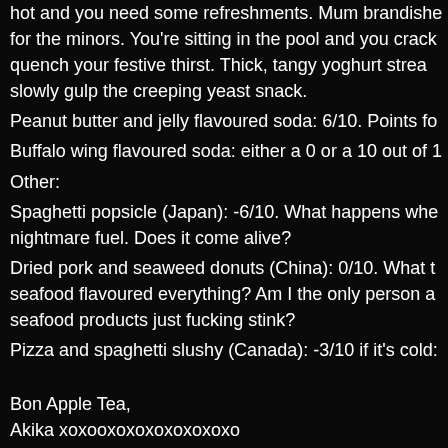hot and you need some refreshments. Mum brandishe for the minors. You're sitting in the pool and you crack quench your festive thirst. Thick, tangy yoghurt strea slowly gulp the creeping yeast snack.
Peanut butter and jelly flavoured soda: 6/10. Points fo
Buffalo wing flavoured soda: either a 0 or a 10 out of 1
Other:
Spaghetti popsicle (Japan): -6/10. What happens whe nightmare fuel. Does it come alive?
Dried pork and seaweed donuts (China): 0/10. What t seafood flavoured everything? Am I the only person a seafood products just fucking stink?
Pizza and spaghetti slushy (Canada): -3/10 if it's cold:
Bon Apple Tea,
Akika xoxooxoxoxoxoxoxoxo